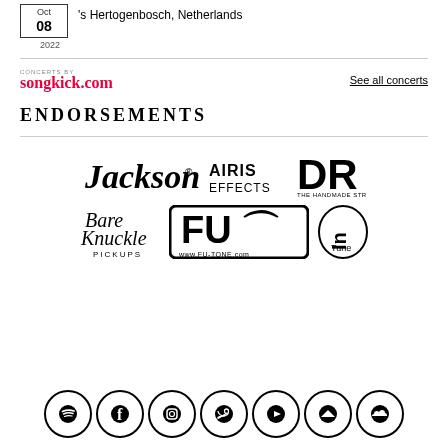Oct 08 · 's Hertogenbosch, Netherlands · 2022
[Figure (logo): Concerts by songkick.com logo]
See all concerts
ENDORSEMENTS
[Figure (logo): Endorsement logos: Jackson, Airis Effects, DR Handmade Strings, Bare Knuckle Pickups, FU-Tone, In Tune]
[Figure (infographic): Social media icons row: Spotify, Facebook, Instagram, Twitter, YouTube, Bandcamp, SoundCloud]